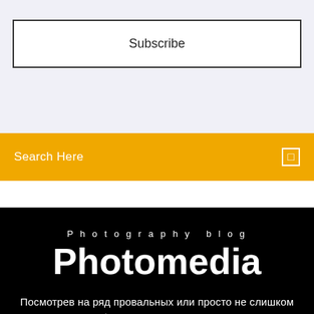Subscribe
Search Here
Photography blog
Photomedia
Посмотрев на ряд провальных или просто не слишком успешных облачных игровых сервисов, Nvidia